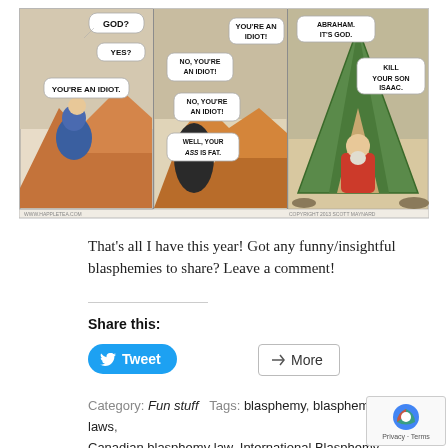[Figure (illustration): Three-panel comic strip. Panel 1: A robed figure in blue talks to God in the clouds — speech bubbles: 'GOD?', 'YES?', 'YOU'RE AN IDIOT.' Panel 2: Two shadowy figures argue — 'YOU'RE AN IDIOT!', 'NO, YOU'RE AN IDIOT!', 'NO, YOU'RE AN IDIOT!', 'WELL, YOUR ASS IS FAT.' Panel 3: A bearded man in red robes stands at a green tent, speech bubbles: 'ABRAHAM. IT'S GOD.', 'KILL YOUR SON ISAAC.' Attribution: www.happletea.com / COPYRIGHT 2013 SCOTT MAYNARD]
That’s all I have this year! Got any funny/insightful blasphemies to share? Leave a comment!
Share this:
Tweet
More
Category: Fun stuff  Tags: blasphemy, blasphemy laws, Canadian blasphemy law, International Blasphemy Day